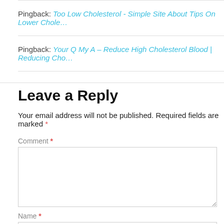Pingback: Too Low Cholesterol - Simple Site About Tips On Lower Chole…
Pingback: Your Q My A – Reduce High Cholesterol Blood | Reducing Cho…
Leave a Reply
Your email address will not be published. Required fields are marked *
Comment *
Name *